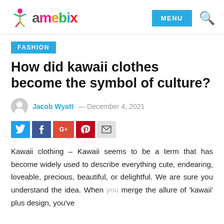namebix — MENU (navigation header)
FASHION
How did kawaii clothes become the symbol of culture?
Jacob Wyatt — December 4, 2021
Kawaii clothing – Kawaii seems to be a term that has become widely used to describe everything cute, endearing, loveable, precious, beautiful, or delightful. We are sure you understand the idea. When you merge the allure of 'kawaii' plus design, you've